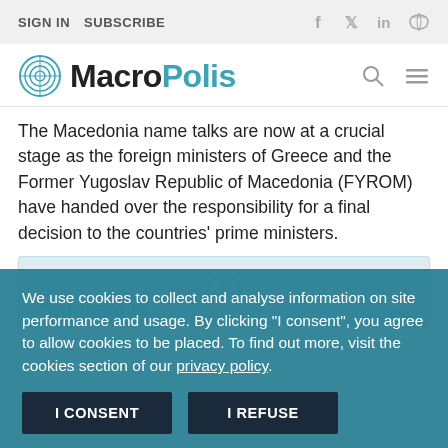SIGN IN   SUBSCRIBE
[Figure (logo): MacroPolis logo with teal circular icon]
The Macedonia name talks are now at a crucial stage as the foreign ministers of Greece and the Former Yugoslav Republic of Macedonia (FYROM) have handed over the responsibility for a final decision to the countries' prime ministers.
[Figure (other): Light blue preview box with partially visible content underneath cookie overlay]
We use cookies to collect and analyse information on site performance and usage. By clicking "I consent", you agree to allow cookies to be placed. To find out more, visit the cookies section of our privacy policy.
I CONSENT   I REFUSE